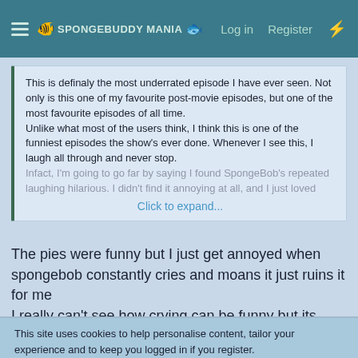SpongeBuddy Mania | Log in | Register
This is definaly the most underrated episode I have ever seen. Not only is this one of my favourite post-movie episodes, but one of the most favourite episodes of all time.
Unlike what most of the users think, I think this is one of the funniest episodes the show's ever done. Whenever I see this, I laugh all through and never stop.
Infact, I'm going to go far by saying I found SpongeBob's repeated laughing hilarious. I didn't find it annoying at all, and I just loved...
Click to expand...
The pies were funny but I just get annoyed when spongebob constantly cries and moans it just ruins it for me
I really can't see how crying can be funny but its your taste
Also what do you think of all that glitters?
This site uses cookies to help personalise content, tailor your experience and to keep you logged in if you register.
By continuing to use this site, you are consenting to our use of cookies.